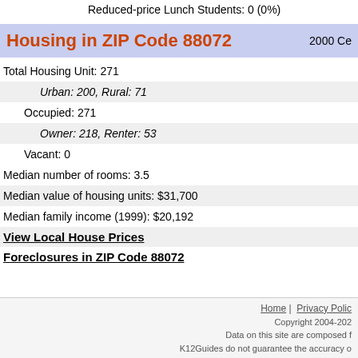Reduced-price Lunch Students: 0 (0%)
Housing in ZIP Code 88072   2000 Ce...
Total Housing Unit: 271
Urban: 200, Rural: 71
Occupied: 271
Owner: 218, Renter: 53
Vacant: 0
Median number of rooms: 3.5
Median value of housing units: $31,700
Median family income (1999): $20,192
View Local House Prices
Foreclosures in ZIP Code 88072
Home | Privacy Polic... Copyright 2004-202... Data on this site are composed f... K12Guides do not guarantee the accuracy o...